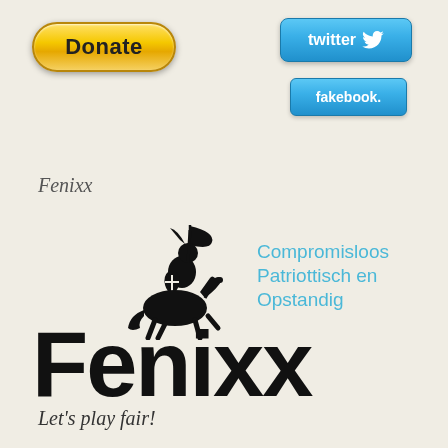[Figure (logo): Donate button - yellow/gold rounded button with bold 'Donate' text]
[Figure (logo): Twitter button - blue rounded rectangle with 'twitter' text and bird icon]
[Figure (logo): Fakebook button - blue rounded rectangle with 'fakebook.' text]
Fenixx
[Figure (logo): Fenixx organization logo: knight on horseback with flag, large FENIXX text, tagline 'Compromisloos Patriottisch en Opstandig' in blue]
Let's play fair!